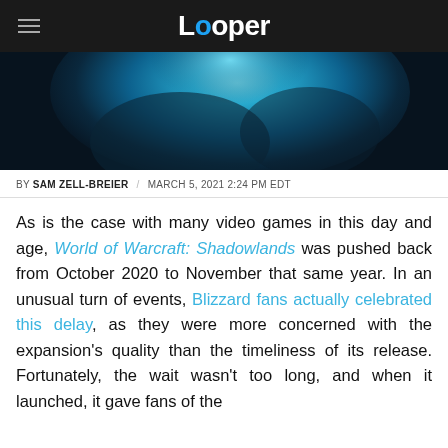Looper
[Figure (photo): Close-up of a fantasy game character with blue glowing hood/cloak, dark tones, likely World of Warcraft Shadowlands artwork]
BY SAM ZELL-BREIER / MARCH 5, 2021 2:24 PM EDT
As is the case with many video games in this day and age, World of Warcraft: Shadowlands was pushed back from October 2020 to November that same year. In an unusual turn of events, Blizzard fans actually celebrated this delay, as they were more concerned with the expansion's quality than the timeliness of its release. Fortunately, the wait wasn't too long, and when it launched, it gave fans of the